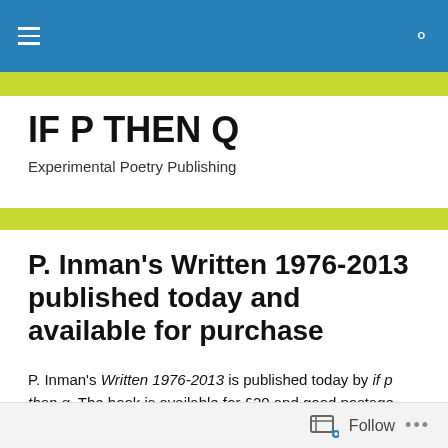IF P THEN Q — navigation bar
IF P THEN Q
Experimental Poetry Publishing
P. Inman's Written 1976-2013 published today and available for purchase
P. Inman's Written 1976-2013 is published today by if p then q. The book is available for £20 and good postage rates are available both in the UK, USA and other locations.